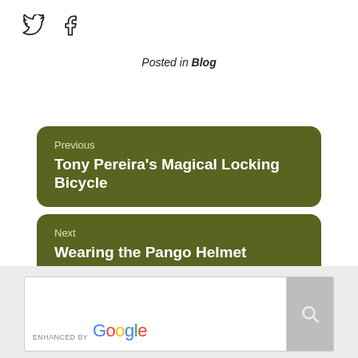[Figure (other): Twitter and Facebook social share icons]
Posted in Blog
Previous
Tony Pereira's Magical Locking Bicycle
Next
Wearing the Pango Helmet
[Figure (other): Enhanced by Google search widget at bottom of page]